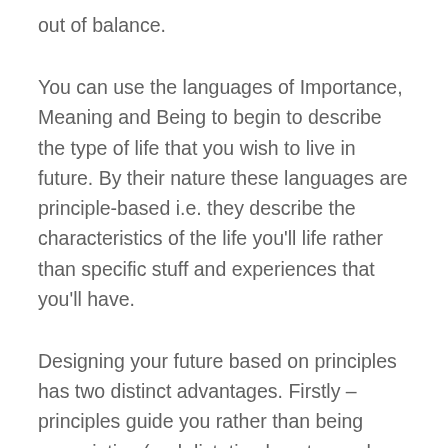out of balance.
You can use the languages of Importance, Meaning and Being to begin to describe the type of life that you wish to live in future. By their nature these languages are principle-based i.e. they describe the characteristics of the life you'll life rather than specific stuff and experiences that you'll have.
Designing your future based on principles has two distinct advantages. Firstly – principles guide you rather than being prescriptive (and dictating how to reach your goal). This means that the number of possible paths and possible